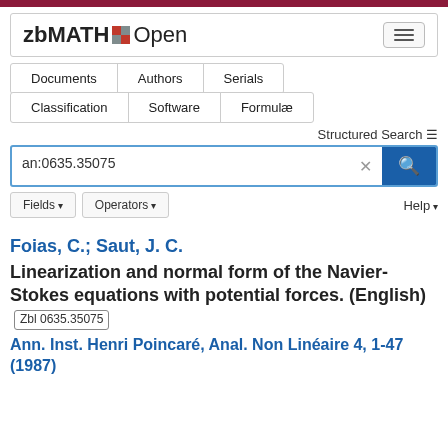zbMATH Open
[Figure (screenshot): Navigation tabs: Documents, Authors, Serials, Classification, Software, Formulae]
Structured Search
an:0635.35075
Fields ▾   Operators ▾   Help ▾
Foias, C.; Saut, J. C.
Linearization and normal form of the Navier-Stokes equations with potential forces. (English) Zbl 0635.35075
Ann. Inst. Henri Poincaré, Anal. Non Linéaire 4, 1-47 (1987)